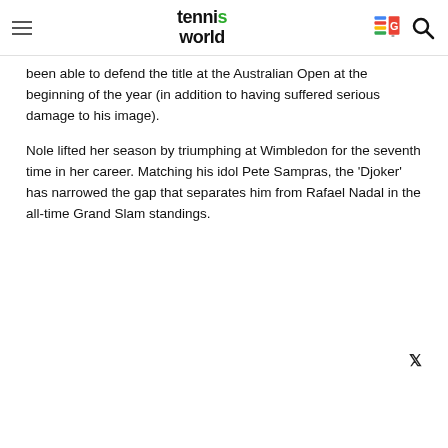tennis world
been able to defend the title at the Australian Open at the beginning of the year (in addition to having suffered serious damage to his image).
Nole lifted her season by triumphing at Wimbledon for the seventh time in her career. Matching his idol Pete Sampras, the 'Djoker' has narrowed the gap that separates him from Rafael Nadal in the all-time Grand Slam standings.